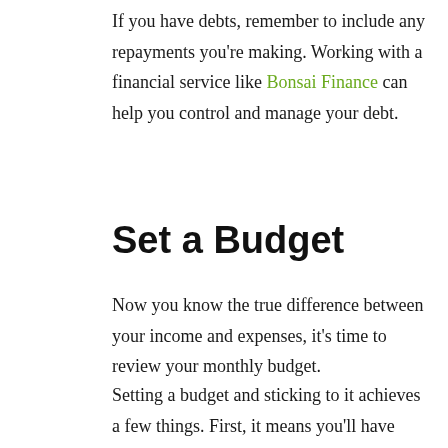If you have debts, remember to include any repayments you're making. Working with a financial service like Bonsai Finance can help you control and manage your debt.
Set a Budget
Now you know the true difference between your income and expenses, it's time to review your monthly budget.
Setting a budget and sticking to it achieves a few things. First, it means you'll have money left over. That gives you a chance to save, and ultimately turn your savings into more money.